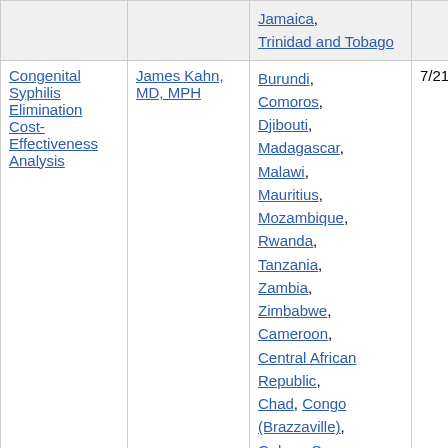| Project | PI | Countries | Start | End |
| --- | --- | --- | --- | --- |
|  |  | Jamaica, Trinidad and Tobago |  |  |
| Congenital Syphilis Elimination Cost-Effectiveness Analysis | James Kahn, MD, MPH | Burundi, Comoros, Djibouti, Madagascar, Malawi, Mauritius, Mozambique, Rwanda, Tanzania, Zambia, Zimbabwe, Cameroon, Central African Republic, Chad, Congo (Brazzaville), Gabon, Sao | 7/21/08 | 6/30/10 |